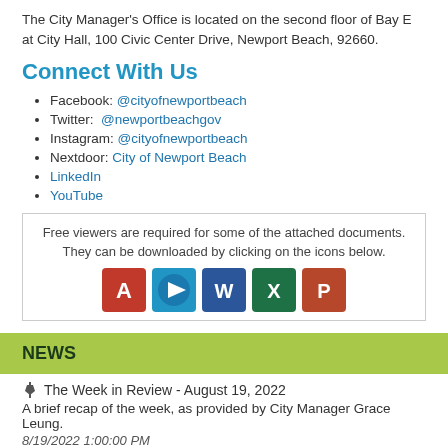The City Manager's Office is located on the second floor of Bay E at City Hall, 100 Civic Center Drive, Newport Beach, 92660.
Connect With Us
Facebook: @cityofnewportbeach
Twitter: @newportbeachgov
Instagram: @cityofnewportbeach
Nextdoor: City of Newport Beach
LinkedIn
YouTube
[Figure (infographic): Box with text: Free viewers are required for some of the attached documents. They can be downloaded by clicking on the icons below. Below are five application icons: Adobe Acrobat (red), Windows Media Player (blue circle), Microsoft Word (blue), Microsoft Excel (green), Microsoft PowerPoint (red).]
NEWS
The Week in Review - August 19, 2022
A brief recap of the week, as provided by City Manager Grace Leung.
8/19/2022 1:00:00 PM